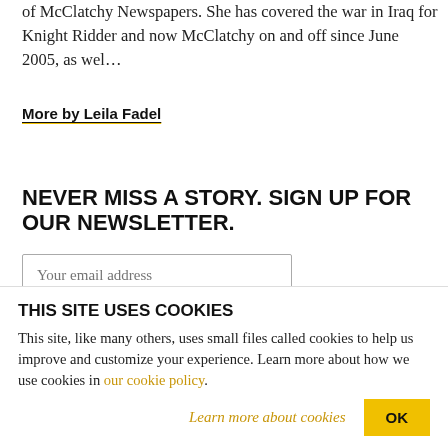of McClatchy Newspapers. She has covered the war in Iraq for Knight Ridder and now McClatchy on and off since June 2005, as wel…
More by Leila Fadel
NEVER MISS A STORY. SIGN UP FOR OUR NEWSLETTER.
Your email address
SIGN UP
THIS SITE USES COOKIES
This site, like many others, uses small files called cookies to help us improve and customize your experience. Learn more about how we use cookies in our cookie policy.
Learn more about cookies
OK